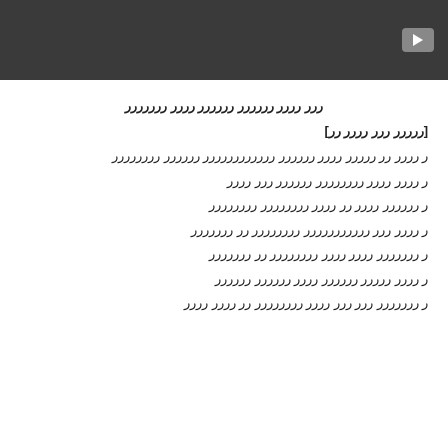[Figure (screenshot): Dark gray video player bar with a play button icon in the top-right corner]
ررر رررر رررررر رررررر رررر ررررررر
[ررررر ررر رررر رر]
ر رررر رر ررررر رررر رررررر رررررررررررر رررررر رررررررر
ر رررر رررر رررررررر رررررر ررر رررر
ر رررررر رررر رر رررر رررررررر رررررررر
ر رررر ررر ررررررررررر رررررررر رر ررررررر
ر ررررررر رررر رررر رررررررر رر ررررررر
ر رررر ررررر رررررر رررر رررررر رررررر
ر ررررررر ررر ررر رررر رررررررر رر رررر رررر